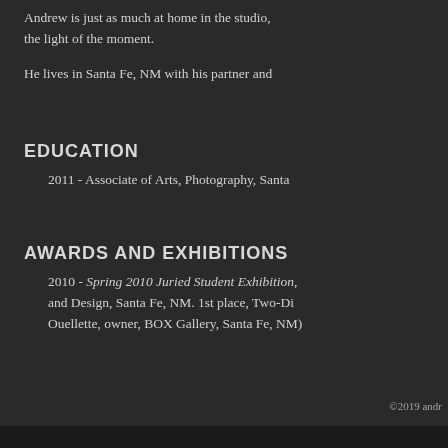Andrew is just as much at home in the studio, the light of the moment.
He lives in Santa Fe, NM with his partner and
EDUCATION
2011 - Associate of Arts, Photography, Santa
AWARDS AND EXHIBITIONS
2010 - Spring 2010 Juried Student Exhibition, and Design, Santa Fe, NM. 1st place, Two-Di Ouellette, owner, BOX Gallery, Santa Fe, NM)
©2019 andr